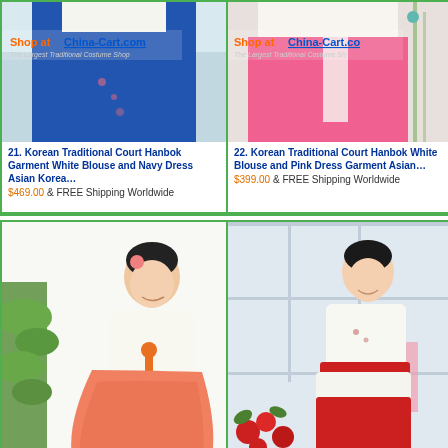[Figure (photo): Korean Traditional Court Hanbok Garment - White Blouse and Navy Dress, with Shop at China-Cart.com banner]
[Figure (photo): Korean Traditional Court Hanbok Garment - White Blouse and Pink Dress, with Shop at China-Cart.com banner]
21. Korean Traditional Court Hanbok Garment White Blouse and Navy Dress Asian Korea…
$469.00 & FREE Shipping Worldwide
22. Korean Traditional Court Hanbok White Blouse and Pink Dress Garment Asian…
$399.00 & FREE Shipping Worldwide
[Figure (photo): Woman wearing Korean Traditional Hanbok with white top and coral/red skirt, standing near a plant]
[Figure (photo): Woman wearing Korean Traditional Hanbok with white top and red skirt, standing near flowers]